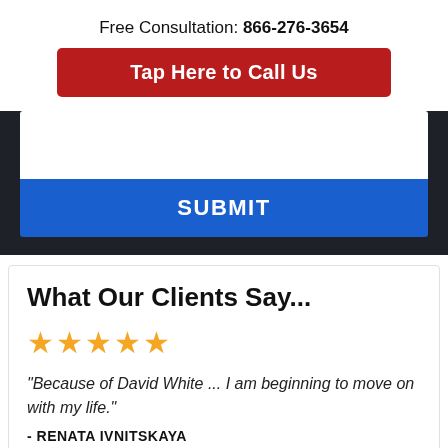Free Consultation: 866-276-3654
Tap Here to Call Us
[Figure (other): White input text box field on dark background]
SUBMIT
What Our Clients Say...
[Figure (other): Five orange star rating]
"Because of David White ... I am beginning to move on with my life."
- RENATA IVNITSKAYA